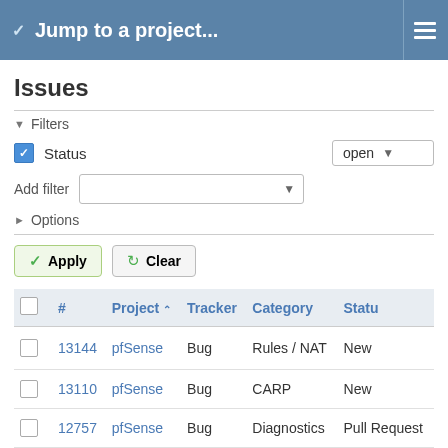Jump to a project...
Issues
Filters
Status — open
Add filter
Options
Apply   Clear
|  | # | Project | Tracker | Category | Status |
| --- | --- | --- | --- | --- | --- |
|  | 13144 | pfSense | Bug | Rules / NAT | New |
|  | 13110 | pfSense | Bug | CARP | New |
|  | 12757 | pfSense | Bug | Diagnostics | Pull Request |